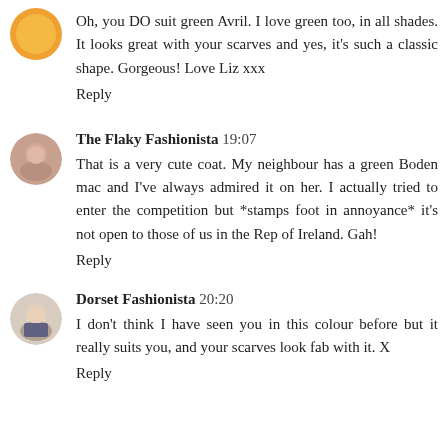Oh, you DO suit green Avril. I love green too, in all shades. It looks great with your scarves and yes, it's such a classic shape. Gorgeous! Love Liz xxx
Reply
The Flaky Fashionista 19:07
That is a very cute coat. My neighbour has a green Boden mac and I've always admired it on her. I actually tried to enter the competition but *stamps foot in annoyance* it's not open to those of us in the Rep of Ireland. Gah!
Reply
Dorset Fashionista 20:20
I don't think I have seen you in this colour before but it really suits you, and your scarves look fab with it. X
Reply